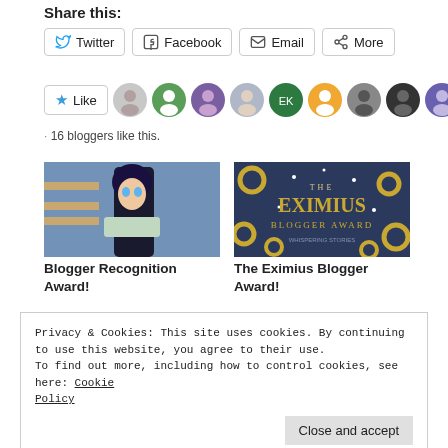Share this:
Twitter | Facebook | Email | More
[Figure (other): Like button with star icon and 10 blogger avatars]
16 bloggers like this.
[Figure (photo): Anime character image - Blogger Recognition Award]
Blogger Recognition Award!
[Figure (other): The Eximius Blogger Award banner - dark blue with gold text]
The Eximius Blogger Award!
Privacy & Cookies: This site uses cookies. By continuing to use this website, you agree to their use.
To find out more, including how to control cookies, see here: Cookie Policy
Close and accept